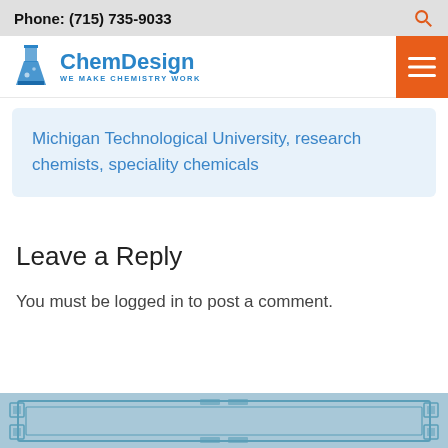Phone: (715) 735-9033
[Figure (logo): ChemDesign logo with flask icon and tagline WE MAKE CHEMISTRY WORK]
Michigan Technological University, research chemists, speciality chemicals
Leave a Reply
You must be logged in to post a comment.
[Figure (illustration): Decorative blue footer bar with circuit/border pattern]